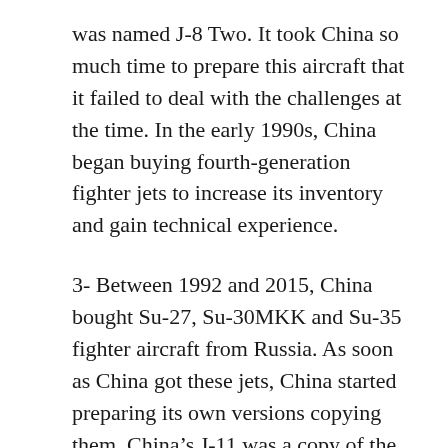was named J-8 Two. It took China so much time to prepare this aircraft that it failed to deal with the challenges at the time. In the early 1990s, China began buying fourth-generation fighter jets to increase its inventory and gain technical experience.
3- Between 1992 and 2015, China bought Su-27, Su-30MKK and Su-35 fighter aircraft from Russia. As soon as China got these jets, China started preparing its own versions copying them. China's J-11 was a copy of the Russian Su-27. This aircraft had many features like the Su-27 of Russia. It had a gull of 30 mm, 10 hardpoints for missiles, the ability to fly up to an altitude of 60 thousand feet like Mach 2. In 2004, China stopped